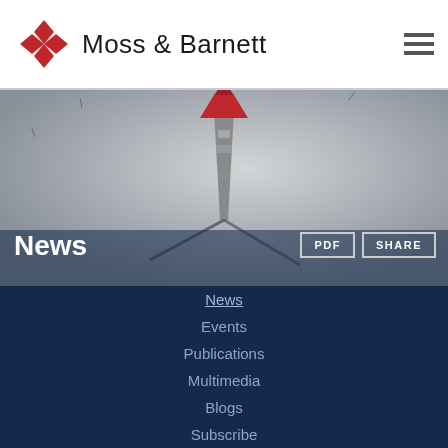Moss & Barnett
[Figure (photo): Close-up of a compass needle/arrow pointing upward with a red tip, on a gray compass face with tick marks. White text 'News' on lower left, buttons 'PDF' and 'SHARE' on lower right.]
News
Events
Publications
Multimedia
Blogs
Subscribe